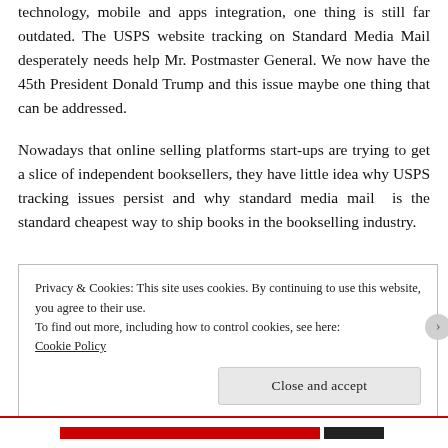technology, mobile and apps integration, one thing is still far outdated. The USPS website tracking on Standard Media Mail desperately needs help Mr. Postmaster General. We now have the 45th President Donald Trump and this issue maybe one thing that can be addressed.
Nowadays that online selling platforms start-ups are trying to get a slice of independent booksellers, they have little idea why USPS tracking issues persist and why standard media mail  is the standard cheapest way to ship books in the bookselling industry.
Privacy & Cookies: This site uses cookies. By continuing to use this website, you agree to their use.
To find out more, including how to control cookies, see here:
Cookie Policy
Close and accept